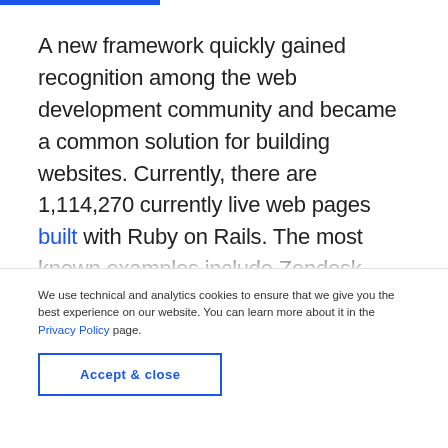A new framework quickly gained recognition among the web development community and became a common solution for building websites. Currently, there are 1,114,270 currently live web pages built with Ruby on Rails. The most known examples include Zendesk, Twitch, Airbnb, Square, Shopify, and GitHub. Ruby on Rails changed the way...
We use technical and analytics cookies to ensure that we give you the best experience on our website. You can learn more about it in the Privacy Policy page.
Accept & close